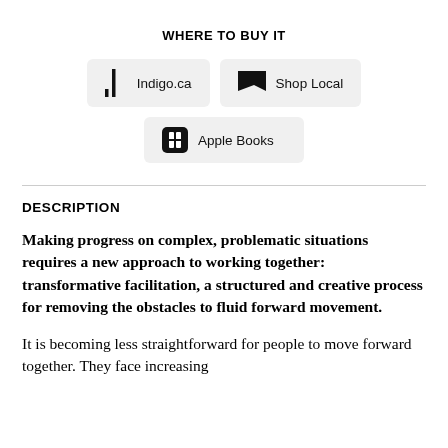WHERE TO BUY IT
[Figure (other): Three retailer buttons: Indigo.ca, Shop Local, Apple Books]
DESCRIPTION
Making progress on complex, problematic situations requires a new approach to working together: transformative facilitation, a structured and creative process for removing the obstacles to fluid forward movement.
It is becoming less straightforward for people to move forward together. They face increasing